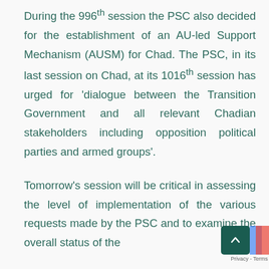During the 996th session the PSC also decided for the establishment of an AU-led Support Mechanism (AUSM) for Chad. The PSC, in its last session on Chad, at its 1016th session has urged for 'dialogue between the Transition Government and all relevant Chadian stakeholders including opposition political parties and armed groups'. Tomorrow's session will be critical in assessing the level of implementation of the various requests made by the PSC and to examine the overall status of the